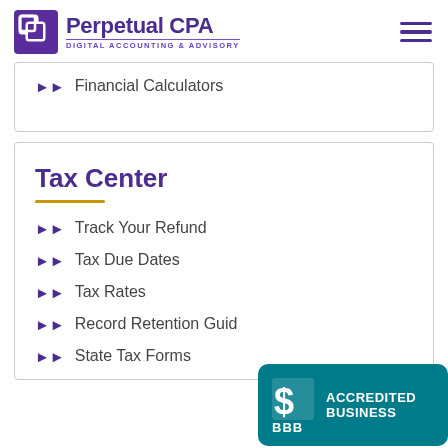Perpetual CPA - DIGITAL ACCOUNTING & ADVISORY
Financial Calculators
Tax Center
Track Your Refund
Tax Due Dates
Tax Rates
Record Retention Guide
State Tax Forms
[Figure (logo): BBB Accredited Business badge in teal/dark cyan color with BBB logo and text ACCREDITED BUSINESS]